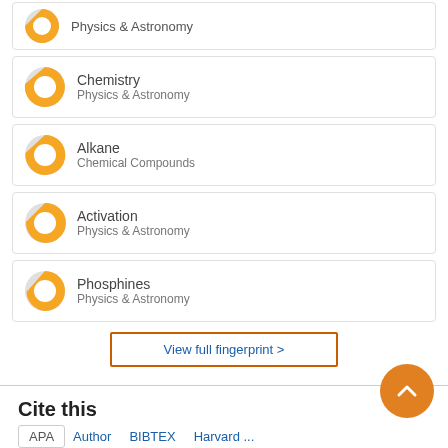Chemistry / Physics & Astronomy
Alkane / Chemical Compounds
Activation / Physics & Astronomy
Phosphines / Physics & Astronomy
View full fingerprint >
Cite this
APA   Author   BIBTEX   Harvard ...